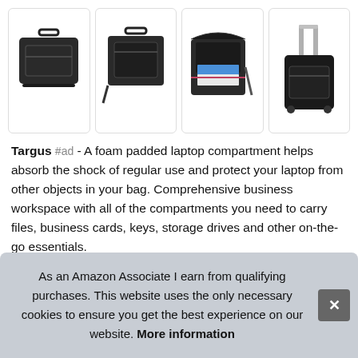[Figure (photo): Four product images of Targus laptop bags and cases arranged in a row: (1) classic black briefcase, (2) messenger-style laptop bag, (3) open laptop bag showing compartments with blue folder, (4) rolling backpack on luggage trolley]
Targus #ad - A foam padded laptop compartment helps absorb the shock of regular use and protect your laptop from other objects in your bag. Comprehensive business workspace with all of the compartments you need to carry files, business cards, keys, storage drives and other on-the-go essentials.
We indu war
As an Amazon Associate I earn from qualifying purchases. This website uses the only necessary cookies to ensure you get the best experience on our website. More information